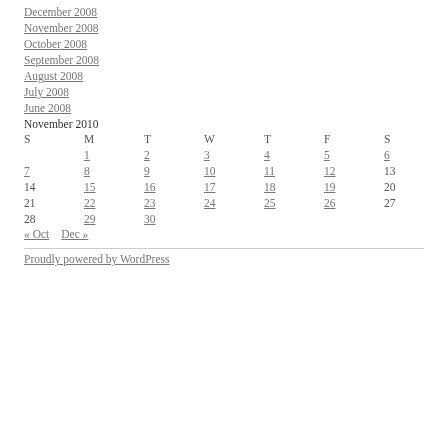December 2008
November 2008
October 2008
September 2008
August 2008
July 2008
June 2008
November 2010
| S | M | T | W | T | F | S |
| --- | --- | --- | --- | --- | --- | --- |
|  | 1 | 2 | 3 | 4 | 5 | 6 |
| 7 | 8 | 9 | 10 | 11 | 12 | 13 |
| 14 | 15 | 16 | 17 | 18 | 19 | 20 |
| 21 | 22 | 23 | 24 | 25 | 26 | 27 |
| 28 | 29 | 30 |  |  |  |  |
« Oct   Dec »
Proudly powered by WordPress